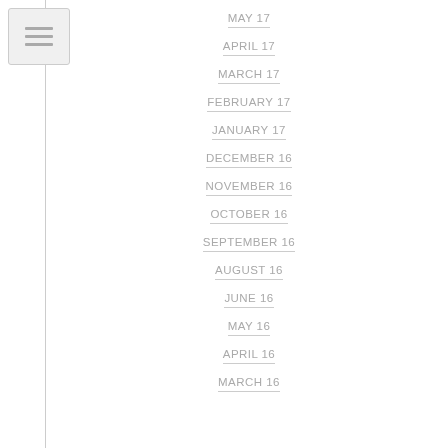[Figure (other): Sidebar navigation menu icon with three horizontal lines on a light grey background, positioned top-left with a vertical dividing line]
MAY 17
APRIL 17
MARCH 17
FEBRUARY 17
JANUARY 17
DECEMBER 16
NOVEMBER 16
OCTOBER 16
SEPTEMBER 16
AUGUST 16
JUNE 16
MAY 16
APRIL 16
MARCH 16